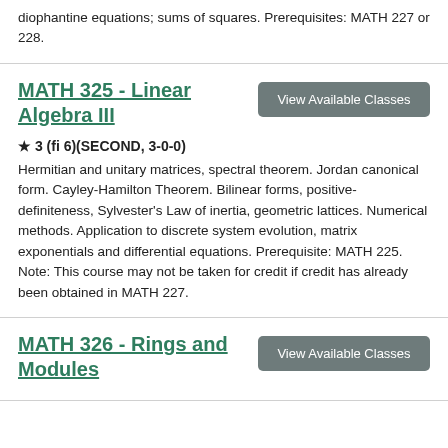diophantine equations; sums of squares. Prerequisites: MATH 227 or 228.
MATH 325 - Linear Algebra III
★ 3 (fi 6)(SECOND, 3-0-0)
Hermitian and unitary matrices, spectral theorem. Jordan canonical form. Cayley-Hamilton Theorem. Bilinear forms, positive-definiteness, Sylvester's Law of inertia, geometric lattices. Numerical methods. Application to discrete system evolution, matrix exponentials and differential equations. Prerequisite: MATH 225. Note: This course may not be taken for credit if credit has already been obtained in MATH 227.
MATH 326 - Rings and Modules